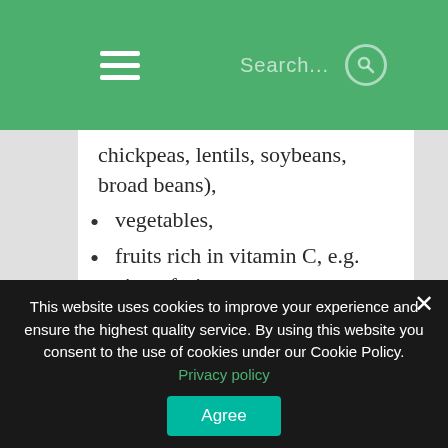Navigation menu | Search
chickpeas, lentils, soybeans, broad beans),
vegetables,
fruits rich in vitamin C, e.g. citrus fruits,
spicy spices,
garlic,
cocoa and coffee,
cereals and whole grain products (e.g. sunflower seeds, pumpkin seeds,
This website uses cookies to improve your experience and ensure the highest quality service. By using this website you consent to the use of cookies under our Cookie Policy. Privacy policy
Agree